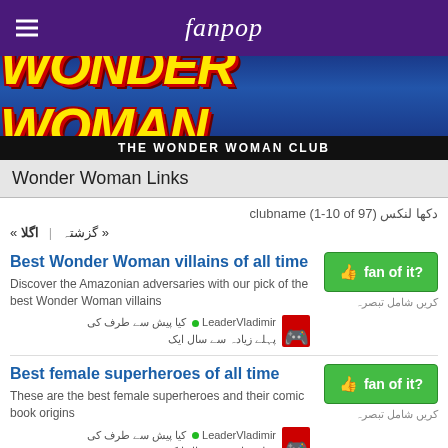fanpop
[Figure (logo): Wonder Woman comic banner logo with yellow text on blue background]
THE WONDER WOMAN CLUB
Wonder Woman Links
دکھا لنکس clubname (1-10 of 97)
« گزشتہ | اگلا »
Best Wonder Woman villains of all time
Discover the Amazonian adversaries with our pick of the best Wonder Woman villains
LeaderVladimir ● کیا پیش سے طرف کی
پہلے زیادہ سے سال ایک
Best female superheroes of all time
These are the best female superheroes and their comic book origins
LeaderVladimir ● کیا پیش سے طرف کی
پہلے زیادہ سے سال ایک
"The Complexity of Wonder Woman"